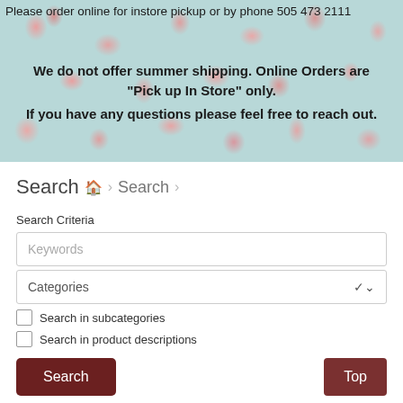Please order online for instore pickup or by phone 505 473 2111
We do not offer summer shipping. Online Orders are "Pick up In Store" only. If you have any questions please feel free to reach out.
Search  🏠 > Search >
Search Criteria
Keywords
Categories
Search in subcategories
Search in product descriptions
Search
Top